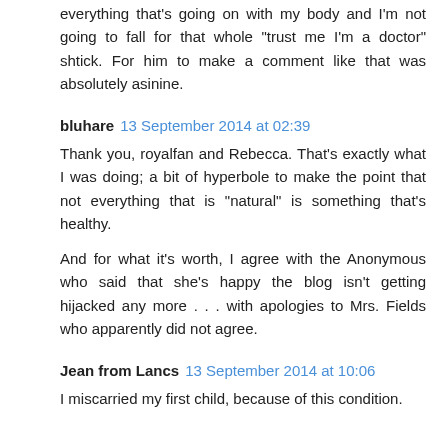everything that's going on with my body and I'm not going to fall for that whole "trust me I'm a doctor" shtick. For him to make a comment like that was absolutely asinine.
bluhare  13 September 2014 at 02:39
Thank you, royalfan and Rebecca. That's exactly what I was doing; a bit of hyperbole to make the point that not everything that is "natural" is something that's healthy.

And for what it's worth, I agree with the Anonymous who said that she's happy the blog isn't getting hijacked any more . . . with apologies to Mrs. Fields who apparently did not agree.
Jean from Lancs  13 September 2014 at 10:06
I miscarried my first child, because of this condition.